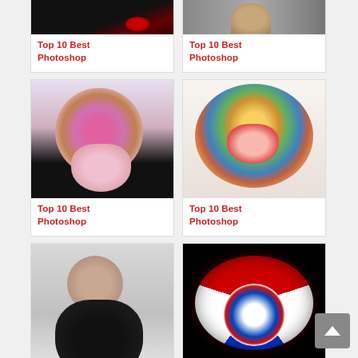[Figure (photo): Partial top of card - dark photo with red glow element, Photoshop artwork]
Top 10 Best Photoshop
[Figure (photo): Partial top of card - portrait photo with gray background]
Top 10 Best Photoshop
[Figure (photo): Woman with colorful floral hair, Photoshop digital art]
Top 10 Best Photoshop
[Figure (photo): Colorful face with butterfly/floral elements, Photoshop digital art]
Top 10 Best Photoshop
[Figure (photo): Woman in black outfit with dark feathers/tendrils, Photoshop art]
Top 10 Best Photoshop
[Figure (photo): Captain America shield on black background, Photoshop art]
Top 10 Best Photoshop